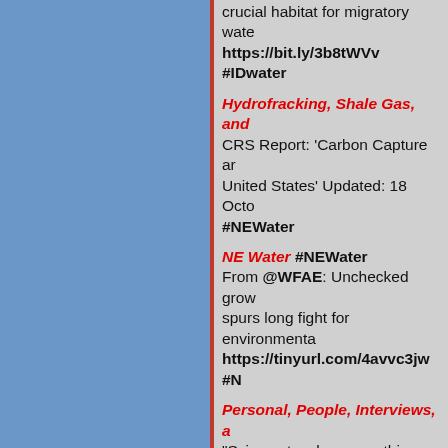crucial habitat for migratory wate... https://bit.ly/3b8tWVv #IDwater
Hydrofracking, Shale Gas, and ...
CRS Report: 'Carbon Capture ar... United States' Updated: 18 Octo... #NEWater
NE Water #NEWater
From @WFAE: Unchecked grow... spurs long fight for environmenta... https://tinyurl.com/4avvc3jw #N...
Personal, People, Interviews, a...
"Science touches everything, and... Ed Yong, in @TheAtlantic
"When the student is ready the te... Buddhist/Tao Te Ching/Zen prove...
"What's the use of having develo... make predictions if, in the end, a...